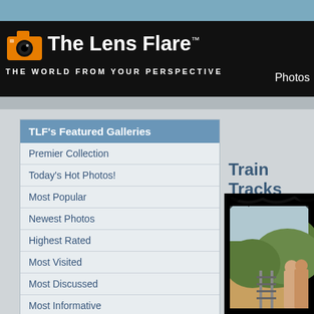[Figure (logo): The Lens Flare logo with orange camera icon and white bold text on black background. Tagline: THE WORLD FROM YOUR PERSPECTIVE. Photos link top right.]
TLF's Featured Galleries
Premier Collection
Today's Hot Photos!
Most Popular
Newest Photos
Highest Rated
Most Visited
Most Discussed
Most Informative
Today's Hot Galleries on TLF
Europe, Asia, India, and Africa
Macros
Train Tracks
[Figure (photo): Photo of train tracks scene with distressed/aged border effect. Shows green hills, a couple standing near tracks. Black splatter/worn border around aged sepia-toned photograph.]